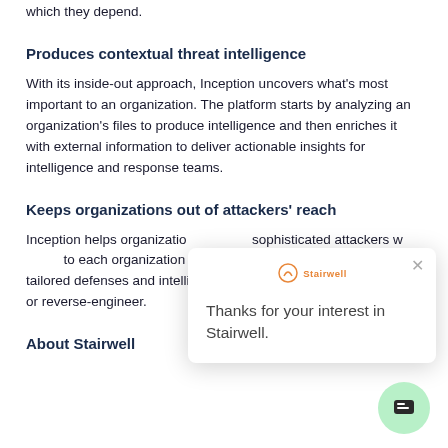which they depend.
Produces contextual threat intelligence
With its inside-out approach, Inception uncovers what's most important to an organization. The platform starts by analyzing an organization's files to produce intelligence and then enriches it with external information to deliver actionable insights for intelligence and response teams.
Keeps organizations out of attackers' reach
Inception helps organizations… sophisticated attackers w… to each organization and i… this by giving organizations tailored defenses and intelligence that attackers can't test against or reverse-engineer.
[Figure (screenshot): Popup dialog with Stairwell logo, close button (×), and text: Thanks for your interest in Stairwell.]
[Figure (other): Green circular chat button with chat bubble icon]
About Stairwell